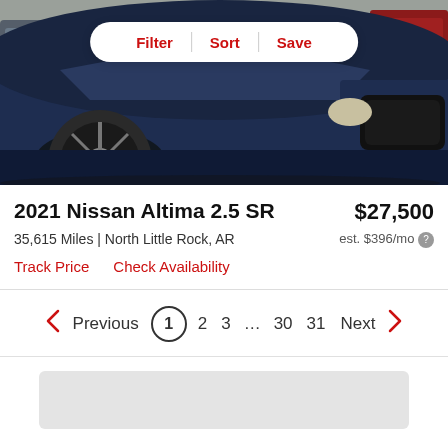[Figure (photo): Front view of a dark navy blue 2021 Nissan Altima 2.5 SR sedan in a parking lot, with chrome wheel details visible. A 'Filter | Sort | Save' toolbar overlaid at the top.]
2021 Nissan Altima 2.5 SR
$27,500
35,615 Miles | North Little Rock, AR
est. $396/mo
Track Price   Check Availability
Previous  1  2  3  ...  30  31  Next